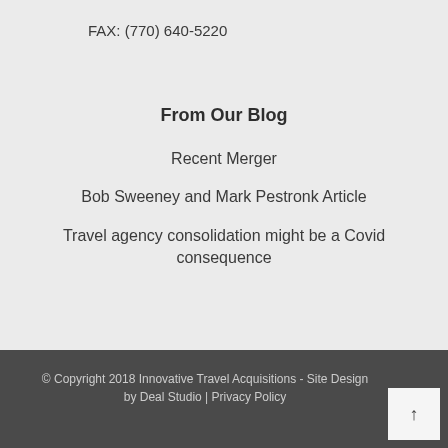FAX: (770) 640-5220
From Our Blog
Recent Merger
Bob Sweeney and Mark Pestronk Article
Travel agency consolidation might be a Covid consequence
© Copyright 2018 Innovative Travel Acquisitions - Site Design by Deal Studio | Privacy Policy